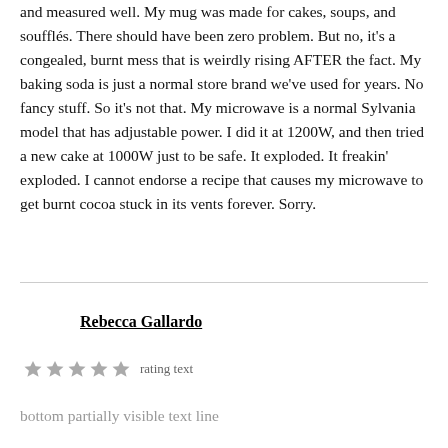daily #00 chocolate chips. Everything I used was fresh and measured well. My mug was made for cakes, soups, and soufflés. There should have been zero problem. But no, it's a congealed, burnt mess that is weirdly rising AFTER the fact. My baking soda is just a normal store brand we've used for years. No fancy stuff. So it's not that. My microwave is a normal Sylvania model that has adjustable power. I did it at 1200W, and then tried a new cake at 1000W just to be safe. It exploded. It freakin' exploded. I cannot endorse a recipe that causes my microwave to get burnt cocoa stuck in its vents forever. Sorry.
Rebecca Gallardo
[Figure (other): 5 star rating icons (all filled/grey) followed by rating text]
Bottom partially visible text line